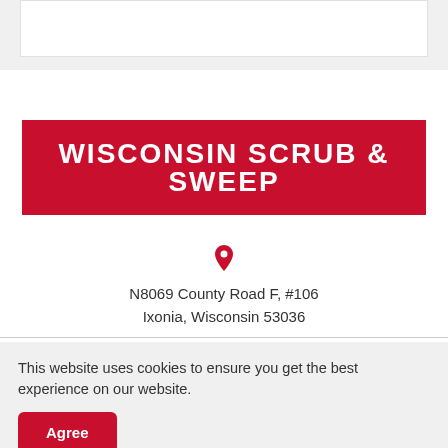[Figure (logo): Wisconsin Scrub & Sweep logo — white bold text on dark red/crimson rectangular banner]
N8069 County Road F, #106
Ixonia, Wisconsin 53036
This website uses cookies to ensure you get the best experience on our website.